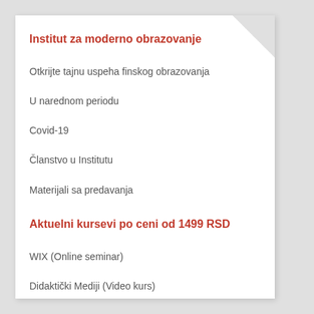Institut za moderno obrazovanje
Otkrijte tajnu uspeha finskog obrazovanja
U narednom periodu
Covid-19
Članstvo u Institutu
Materijali sa predavanja
Aktuelni kursevi po ceni od 1499 RSD
WIX (Online seminar)
Didaktički Mediji (Video kurs)